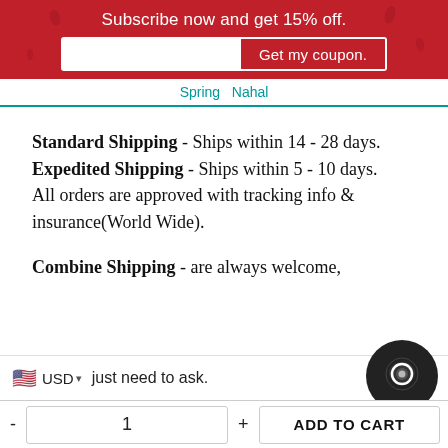Subscribe now and get 15% off.
Spring  Nahal
Standard Shipping - Ships within 14 - 28 days.
Expedited Shipping - Ships within 5 - 10 days.
All orders are approved with tracking info & insurance(World Wide).
Combine Shipping - are always welcome, just need to ask.
🇺🇸 USD ▾  just need to ask.
- 1 + ADD TO CART